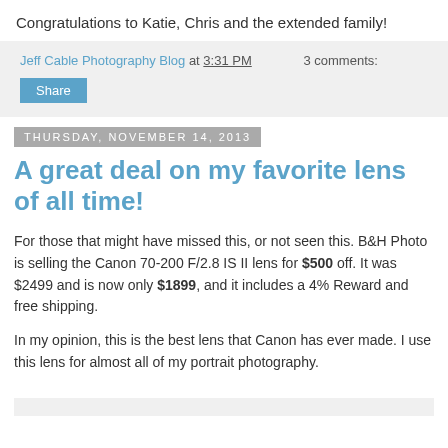Congratulations to Katie, Chris and the extended family!
Jeff Cable Photography Blog at 3:31 PM   3 comments:
Share
Thursday, November 14, 2013
A great deal on my favorite lens of all time!
For those that might have missed this, or not seen this. B&H Photo is selling the Canon 70-200 F/2.8 IS II lens for $500 off. It was $2499 and is now only $1899, and it includes a 4% Reward and free shipping.
In my opinion, this is the best lens that Canon has ever made. I use this lens for almost all of my portrait photography.